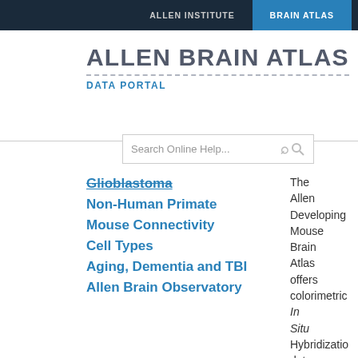ALLEN INSTITUTE   BRAIN ATLAS
ALLEN BRAIN ATLAS
DATA PORTAL
Search Online Help...
Glioblastoma
Non-Human Primate
Mouse Connectivity
Cell Types
Aging, Dementia and TBI
Allen Brain Observatory
The Allen Developing Mouse Brain Atlas offers colorimetric In Situ Hybridization data